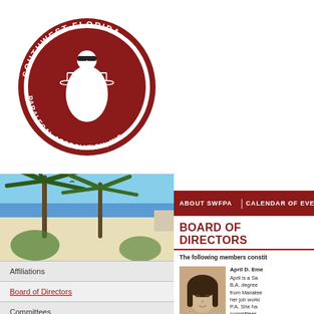[Figure (logo): Southwest Florida Paralegal Association, Inc. circular logo with Lady Justice holding scales, dark red background with white border]
[Figure (photo): Beach scene with palm trees, white sandy beach and blue sky, Southwest Florida]
ABOUT SWFPA | CALENDAR OF EVEN...
BOARD OF DIRECTORS
The following members constit...
[Figure (photo): Headshot of April D. Eme..., a woman with dark hair against a beige background]
April D. Eme... April is a Sa... B.A. degree ... from Manatee... her job worki... P.A. She ha... committees.
Affiliations
Board of Directors
Committees